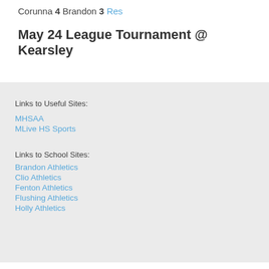Corunna 4 Brandon 3 Res
May 24 League Tournament @ Kearsley
Links to Useful Sites:
MHSAA
MLive HS Sports
Links to School Sites:
Brandon Athletics
Clio Athletics
Fenton Athletics
Flushing Athletics
Holly Athletics